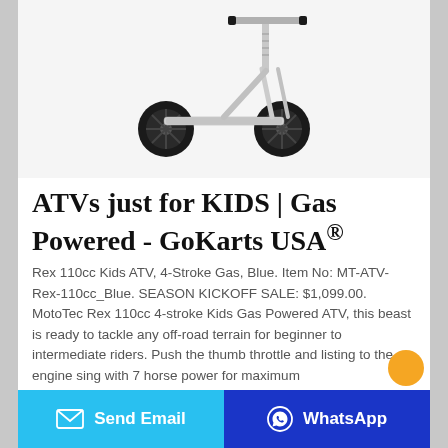[Figure (photo): A white kick scooter with two large black wheels and an adjustable handlebar, photographed on a white background.]
ATVs just for KIDS | Gas Powered - GoKarts USA®
Rex 110cc Kids ATV, 4-Stroke Gas, Blue. Item No: MT-ATV-Rex-110cc_Blue. SEASON KICKOFF SALE: $1,099.00. MotoTec Rex 110cc 4-stroke Kids Gas Powered ATV, this beast is ready to tackle any off-road terrain for beginner to intermediate riders. Push the thumb throttle and listing to the engine sing with 7 horse power for maximum